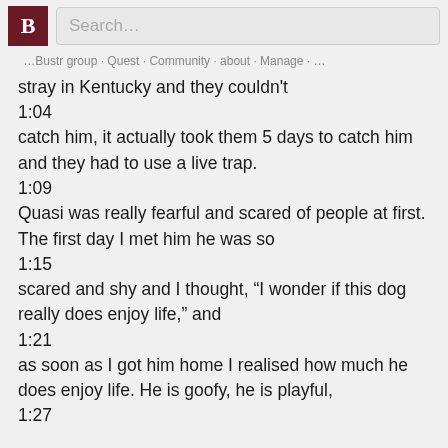B Search…
stray in Kentucky and they couldn't
1:04
catch him, it actually took them 5 days to catch him and they had to use a live trap.
1:09
Quasi was really fearful and scared of people at first. The first day I met him he was so
1:15
scared and shy and I thought, “I wonder if this dog really does enjoy life,” and
1:21
as soon as I got him home I realised how much he does enjoy life. He is goofy, he is playful,
1:27